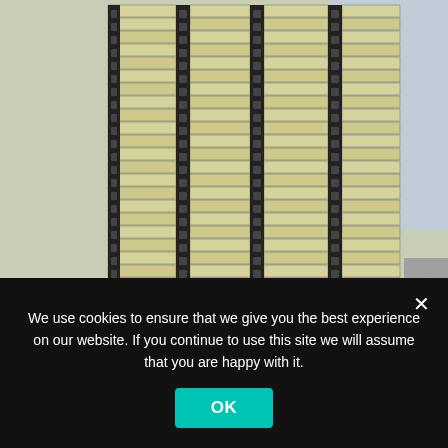[Figure (photo): A large stack or collection of books with yellow/cream spines and dark spine labels, viewed from the side, piled up densely in multiple columns.]
We use cookies to ensure that we give you the best experience on our website. If you continue to use this site we will assume that you are happy with it.